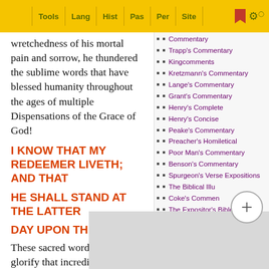Tools | Lang | Hist | Pas | Per | Site
wretchedness of his mortal pain and sorrow, he thundered the sublime words that have blessed humanity throughout the ages of multiple Dispensations of the Grace of God!
I KNOW THAT MY REDEEMER LIVETH; AND THAT
HE SHALL STAND AT THE LATTER
DAY UPON THE EARTH
These sacred words adorn and glorify that incredibly beautiful soprano... Frede... Mess...
Commentary
Trapp's Commentary
Kingcomments
Kretzmann's Commentary
Lange's Commentary
Grant's Commentary
Henry's Complete
Henry's Concise
Peake's Commentary
Preacher's Homiletical
Poor Man's Commentary
Benson's Commentary
Spurgeon's Verse Expositions
The Biblical Illu...
Coke's Commen...
The Expositor's Bible Commentary